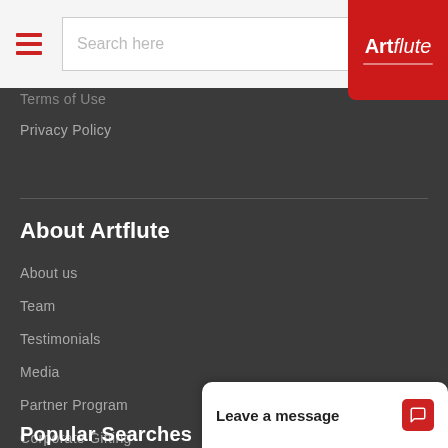[Figure (logo): Artflute logo - red background with white text 'Artflute' in bold/italic]
Search here [search bar with magnifying glass icon]
Terms of Use
Privacy Policy
About Artflute
About us
Team
Testimonials
Media
Partner Program
Corporate Gifting
Popular Searches
Leave a message